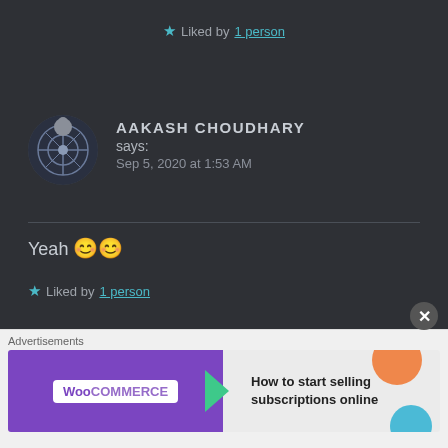★ Liked by 1 person
AAKASH CHOUDHARY says: Sep 5, 2020 at 1:53 AM
Yeah 😊😊
★ Liked by 1 person
AAKASH CHOUDHARY
Advertisements
[Figure (other): WooCommerce advertisement banner: 'How to start selling subscriptions online']